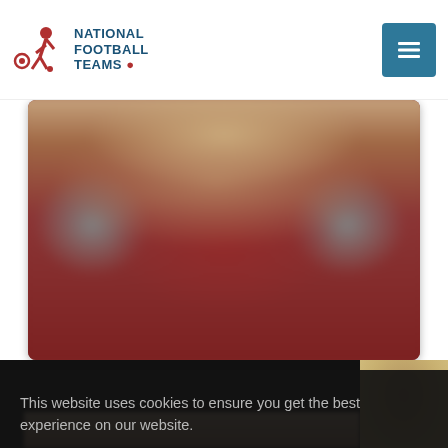National Football Teams
[Figure (photo): Close-up blurred photo of a football player wearing a dark red/maroon jersey with silver/gray stripes on the shoulders, face partially visible at top, set against a warm background]
This website uses cookies to ensure you get the best experience on our website.
Learn more
Allow cookies